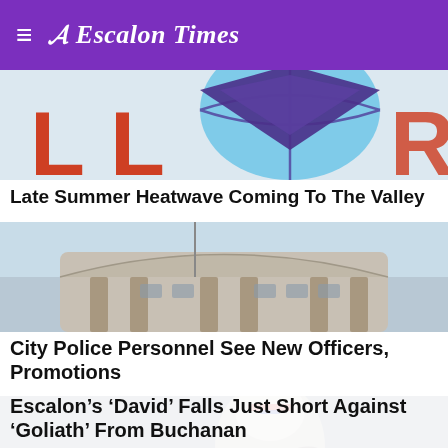Escalon Times
[Figure (photo): Valley Challenger logo with red letters and blue/purple basketball graphic on white background]
Late Summer Heatwave Coming To The Valley
[Figure (photo): Exterior of a government or police building with curved facade, light blue sky]
City Police Personnel See New Officers, Promotions
[Figure (photo): Football player in white uniform with red and blue accents, holding helmet]
Escalon's ‘David’ Falls Just Short Against ‘Goliath’ From Buchanan